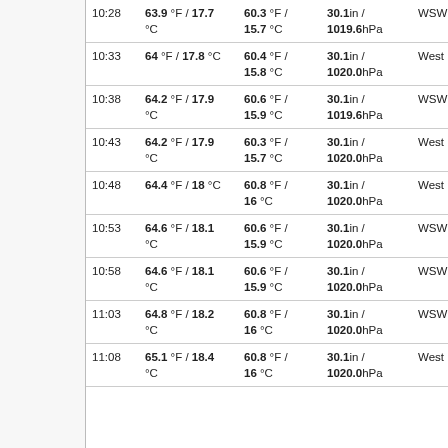| Time | Temp | Dew Point | Pressure | Wind Dir | Wind Speed (partial) |
| --- | --- | --- | --- | --- | --- |
| 10:28 | 63.9 °F / 17.7 °C | 60.3 °F / 15.7 °C | 30.1in / 1019.6hPa | WSW | 4 6 |
| 10:33 | 64 °F / 17.8 °C | 60.4 °F / 15.8 °C | 30.1in / 1020.0hPa | West | 1 1 |
| 10:38 | 64.2 °F / 17.9 °C | 60.6 °F / 15.9 °C | 30.1in / 1019.6hPa | WSW | 4 7 |
| 10:43 | 64.2 °F / 17.9 °C | 60.3 °F / 15.7 °C | 30.1in / 1020.0hPa | West | 4 6 |
| 10:48 | 64.4 °F / 18 °C | 60.8 °F / 16 °C | 30.1in / 1020.0hPa | West | 2 3 |
| 10:53 | 64.6 °F / 18.1 °C | 60.6 °F / 15.9 °C | 30.1in / 1020.0hPa | WSW | 4 7 |
| 10:58 | 64.6 °F / 18.1 °C | 60.6 °F / 15.9 °C | 30.1in / 1020.0hPa | WSW | 2 4 |
| 11:03 | 64.8 °F / 18.2 °C | 60.8 °F / 16 °C | 30.1in / 1020.0hPa | WSW | 4 6 |
| 11:08 | 65.1 °F / 18.4 °C | 60.8 °F / 16 °C | 30.1in / 1020.0hPa | West | 2 4 |